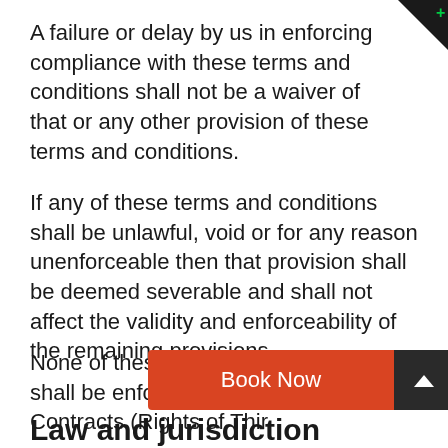A failure or delay by us in enforcing compliance with these terms and conditions shall not be a waiver of that or any other provision of these terms and conditions.
If any of these terms and conditions shall be unlawful, void or for any reason unenforceable then that provision shall be deemed severable and shall not affect the validity and enforceability of the remaining provisions.
None of these terms and conditions shall be enforceable under the Contracts (Rights of Third...
[Figure (other): Orange 'Book Now' button overlay with a dark scroll-up arrow button to its right]
Law and jurisdiction